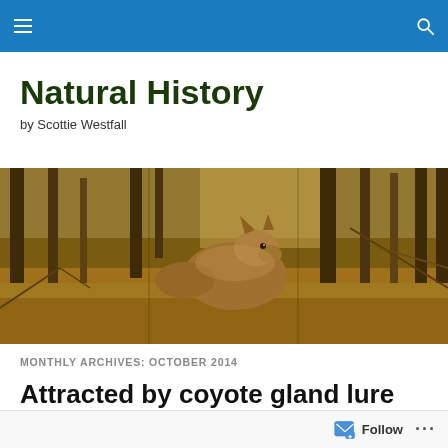Natural History — site navigation header bar
Natural History
by Scottie Westfall
[Figure (photo): A coyote standing in a forest with bare trees and leaf-covered ground, photographed with a trail camera.]
MONTHLY ARCHIVES: OCTOBER 2014
Attracted by coyote gland lure
Follow